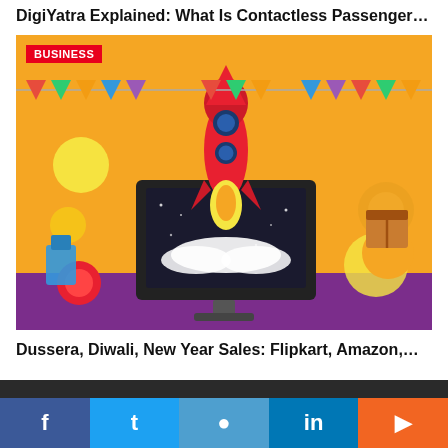DigiYatra Explained: What Is Contactless Passenger…
[Figure (illustration): Festive sale illustration with a rocket launching from a computer monitor on an orange background with bunting, balloons, and decorative elements. BUSINESS badge overlay in red top-left corner.]
Dussera, Diwali, New Year Sales: Flipkart, Amazon,…
Social media links: Facebook, Twitter, Instagram, LinkedIn, RSS